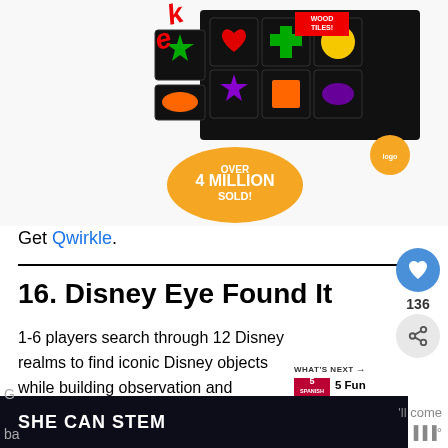[Figure (photo): Qwirkle board game box with black wooden tiles featuring colored shapes (star, circle, cross, etc.) on a white background. Text on box: WOOD TILES!, OVER 4 MILLION SOLD!]
Get Qwirkle.
16. Disney Eye Found It
1-6 players search through 12 Disney realms to find iconic Disney objects while building observation and matching skills. This cooperative game is great for children ages 4 and up.
[Figure (screenshot): SHE CAN STEM banner at bottom of page in dark navy background with white bold text]
[Figure (infographic): WHAT'S NEXT arrow label with 5 Fun Bilingual... thumbnail showing Spanish Activities for preschoolers]